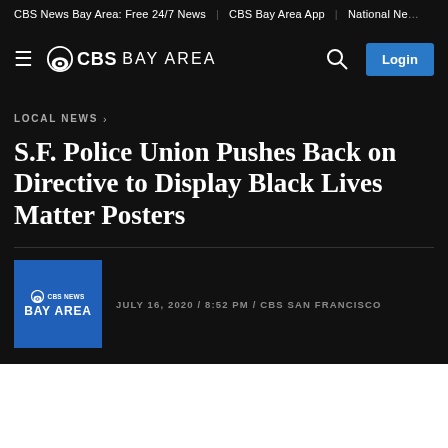CBS News Bay Area: Free 24/7 News | CBS Bay Area App | National Ne…
≡ CBS BAY AREA  🔍  Login
LOCAL NEWS ›
S.F. Police Union Pushes Back on Directive to Display Black Lives Matter Posters
JULY 16, 2020 / 8:52 PM / CBS SAN FRANCISCO